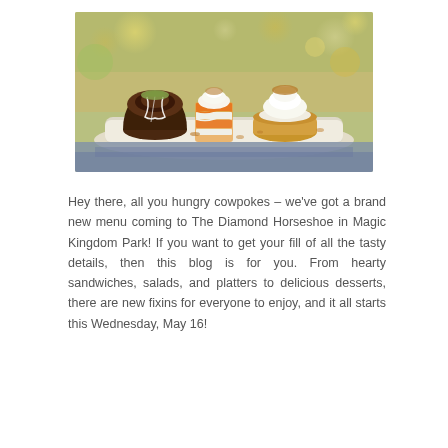[Figure (photo): Three miniature desserts on a white serving platter: a chocolate bundt cake with white drizzle and green crumble, a layered orange and cream parfait in a glass cup topped with crumble, and a creamy dessert in a small pastry shell topped with whipped cream and chopped nuts. Background is a bokeh of warm golden lights.]
Hey there, all you hungry cowpokes – we've got a brand new menu coming to The Diamond Horseshoe in Magic Kingdom Park! If you want to get your fill of all the tasty details, then this blog is for you. From hearty sandwiches, salads, and platters to delicious desserts, there are new fixins for everyone to enjoy, and it all starts this Wednesday, May 16!